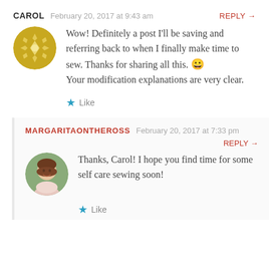CAROL  February 20, 2017 at 9:43 am  REPLY →
[Figure (illustration): Round avatar with golden yellow quilt/snowflake pattern on dark gold background]
Wow! Definitely a post I'll be saving and referring back to when I finally make time to sew. Thanks for sharing all this. 😀
Your modification explanations are very clear.
★ Like
MARGARITAONTHEROSS  February 20, 2017 at 7:33 pm  REPLY →
[Figure (photo): Round avatar photo of a young woman with brown hair, wearing a light pink top, smiling, with green foliage background]
Thanks, Carol! I hope you find time for some self care sewing soon!
★ Like